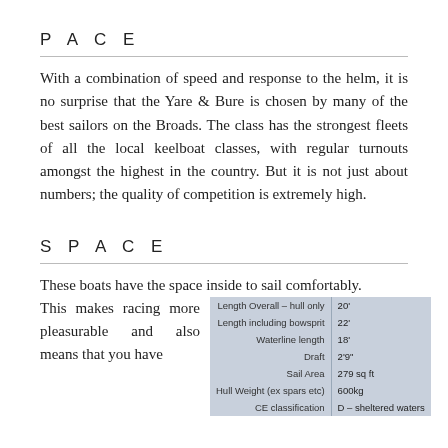P A C E
With a combination of speed and response to the helm, it is no surprise that the Yare & Bure is chosen by many of the best sailors on the Broads. The class has the strongest fleets of all the local keelboat classes, with regular turnouts amongst the highest in the country. But it is not just about numbers; the quality of competition is extremely high.
S P A C E
These boats have the space inside to sail comfortably. This makes racing more pleasurable and also means that you have
|  |  |
| --- | --- |
| Length Overall – hull only | 20' |
| Length including bowsprit | 22' |
| Waterline length | 18' |
| Draft | 2'9" |
| Sail Area | 279 sq ft |
| Hull Weight (ex spars etc) | 600kg |
| CE classification | D – sheltered waters |